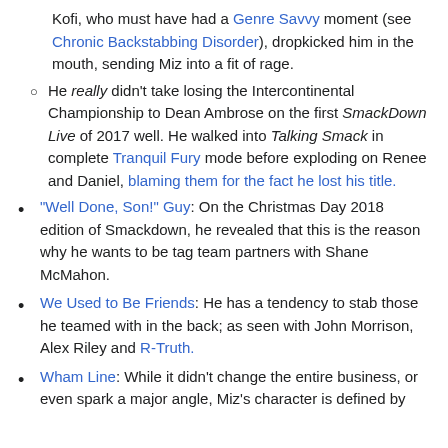Kofi, who must have had a Genre Savvy moment (see Chronic Backstabbing Disorder), dropkicked him in the mouth, sending Miz into a fit of rage.
He really didn't take losing the Intercontinental Championship to Dean Ambrose on the first SmackDown Live of 2017 well. He walked into Talking Smack in complete Tranquil Fury mode before exploding on Renee and Daniel, blaming them for the fact he lost his title.
"Well Done, Son!" Guy: On the Christmas Day 2018 edition of Smackdown, he revealed that this is the reason why he wants to be tag team partners with Shane McMahon.
We Used to Be Friends: He has a tendency to stab those he teamed with in the back; as seen with John Morrison, Alex Riley and R-Truth.
Wham Line: While it didn't change the entire business, or even spark a major angle, Miz's character is defined by